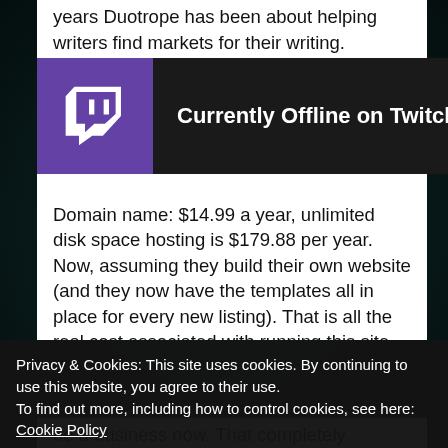years Duotrope has been about helping writers find markets for their writing. Duotrope now wants to be — fool you into — using the site. Because it doesn't cost a lot to run a website. I run two of them right now. Let's look at this by using costs from Go Daddy:
[Figure (screenshot): Twitch 'Currently Offline on Twitch' overlay bar with purple Twitch logo on left and dark background]
Domain name: $14.99 a year, unlimited disk space hosting is $179.88 per year. Now, assuming they build their own website (and they now have the templates all in place for every new listing). That is all the real cost associated with running this site. $194.87 per year, if
Privacy & Cookies: This site uses cookies. By continuing to use this website, you agree to their use.
To find out more, including how to control cookies, see here: Cookie Policy
be a business now. That completely changes the